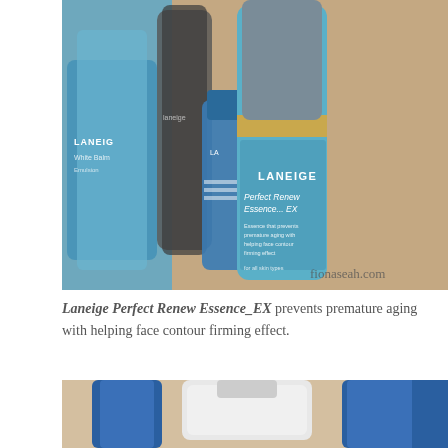[Figure (photo): Photo of Laneige skincare products arranged together, with Laneige Perfect Renew Essence EX bottle in focus in the center. The bottle is teal/blue with a gold band and white text. Other Laneige products are blurred in the background. Watermark reads fionaseah.com in the lower right.]
Laneige Perfect Renew Essence_EX prevents premature aging with helping face contour firming effect.
[Figure (photo): Partial photo of Laneige products showing blue bottles and a white tube/pump, cropped at the bottom of the page.]